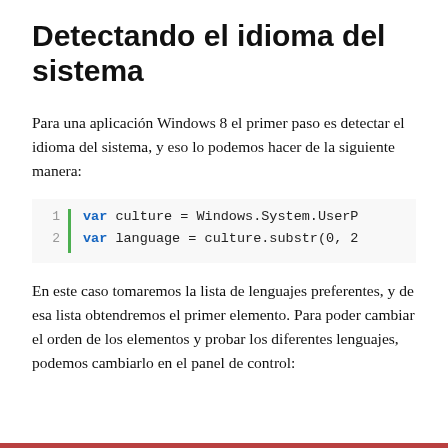Detectando el idioma del sistema
Para una aplicación Windows 8 el primer paso es detectar el idioma del sistema, y eso lo podemos hacer de la siguiente manera:
1  var culture = Windows.System.UserP
2  var language = culture.substr(0, 2
En este caso tomaremos la lista de lenguajes preferentes, y de esa lista obtendremos el primer elemento. Para poder cambiar el orden de los elementos y probar los diferentes lenguajes, podemos cambiarlo en el panel de control: